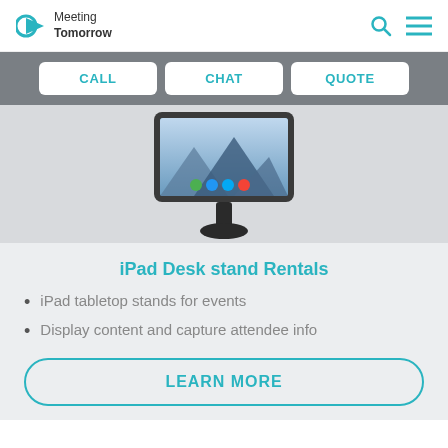Meeting Tomorrow
[Figure (screenshot): Navigation bar with CALL, CHAT, QUOTE buttons on gray background]
[Figure (photo): iPad on a desk stand mount showing a mountain wallpaper and app icons]
iPad Desk stand Rentals
iPad tabletop stands for events
Display content and capture attendee info
LEARN MORE